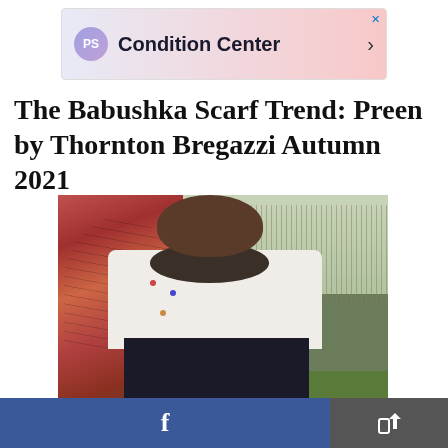[Figure (screenshot): Advertisement banner for 'Condition Center' with PS logo icon, gradient background from light blue to light pink, with close X button and forward arrow]
The Babushka Scarf Trend: Preen by Thornton Bregazzi Autumn 2021
[Figure (photo): Fashion photo of a young Black woman standing in a outdoor field/garden setting. She wears a white top with color dot pattern and a dark black skirt, a dark scarf around her neck. To her left is a large red/pink ruffled dress hanging near a tree trunk. Background shows bare winter trees and green ground.]
f   [share icon]